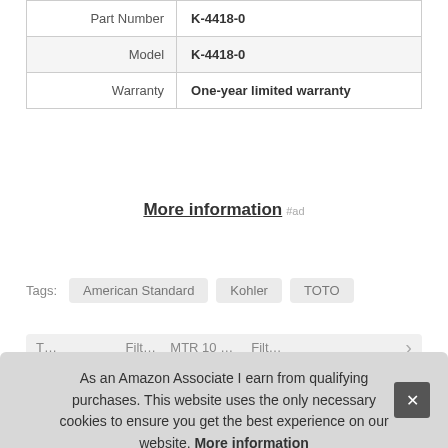| Part Number | K-4418-0 |
| Model | K-4418-0 |
| Warranty | One-year limited warranty |
More information #ad
Tags: American Standard  Kohler  TOTO
As an Amazon Associate I earn from qualifying purchases. This website uses the only necessary cookies to ensure you get the best experience on our website. More information